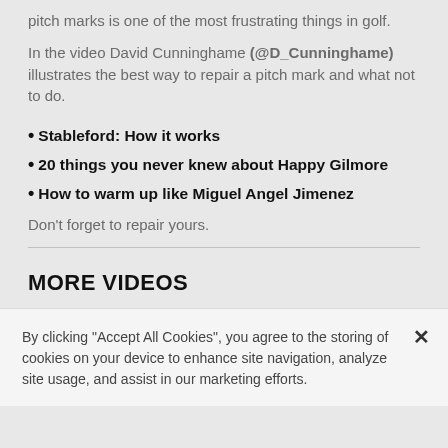pitch marks is one of the most frustrating things in golf.
In the video David Cunninghame (@D_Cunninghame) illustrates the best way to repair a pitch mark and what not to do.
Stableford: How it works
20 things you never knew about Happy Gilmore
How to warm up like Miguel Angel Jimenez
Don't forget to repair yours.
MORE VIDEOS
By clicking "Accept All Cookies", you agree to the storing of cookies on your device to enhance site navigation, analyze site usage, and assist in our marketing efforts.